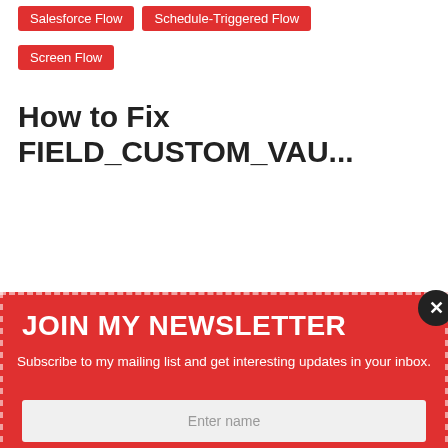Salesforce Flow
Schedule-Triggered Flow
Screen Flow
How to Fix FIELD_CUSTOM_VAL...
JOIN MY NEWSLETTER
Subscribe to my mailing list and get interesting updates in your inbox.
Enter name
Enter your email
Submit